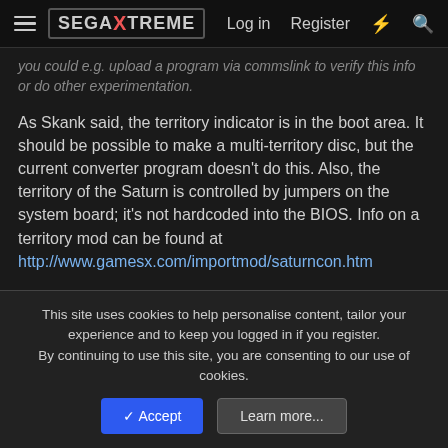SegaXtreme — Log in | Register
you could e.g. upload a program via commslink to verify this info or do other experimentation.
As Skank said, the territory indicator is in the boot area. It should be possible to make a multi-territory disc, but the current converter program doesn't do this. Also, the territory of the Saturn is controlled by jumpers on the system board; it's not hardcoded into the BIOS. Info on a territory mod can be found at http://www.gamesx.com/importmod/saturncon.htm
Codeman1
This site uses cookies to help personalise content, tailor your experience and to keep you logged in if you register.
By continuing to use this site, you are consenting to our use of cookies.